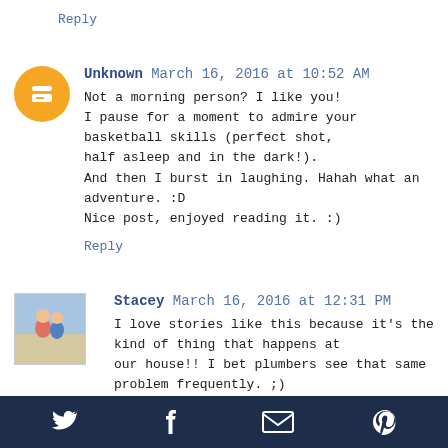Reply
Unknown  March 16, 2016 at 10:52 AM
Not a morning person? I like you!
I pause for a moment to admire your basketball skills (perfect shot, half asleep and in the dark!).
And then I burst in laughing. Hahah what an adventure. :D
Nice post, enjoyed reading it. :)
Reply
Stacey  March 16, 2016 at 12:31 PM
I love stories like this because it's the kind of thing that happens at our house!! I bet plumbers see that same problem frequently. ;)
Reply
Replies